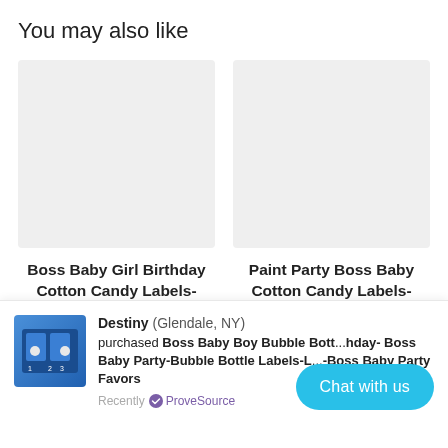You may also like
[Figure (photo): Placeholder image for Boss Baby Girl Birthday Cotton Candy Labels product]
Boss Baby Girl Birthday Cotton Candy Labels-Boss Baby-Boss Baby
[Figure (photo): Placeholder image for Paint Party Boss Baby Cotton Candy Labels product]
Paint Party Boss Baby Cotton Candy Labels-Boss Baby Birthday-Boss Baby
[Figure (photo): Small product image of Boss Baby Boy Bubble Bottle items]
Destiny (Glendale, NY) purchased Boss Baby Boy Bubble Bott... hday- Boss Baby Party-Bubble Bottle Labels-L...-Boss Baby Party Favors
Recently ✓ ProveSource
Chat with us